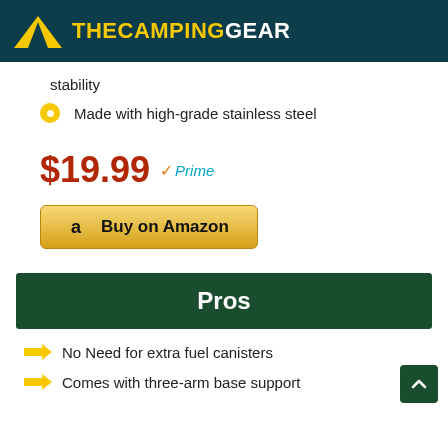THECAMPINGGEAR
stability
Made with high-grade stainless steel
$19.99 Prime
Buy on Amazon
Pros
No Need for extra fuel canisters
Comes with three-arm base support